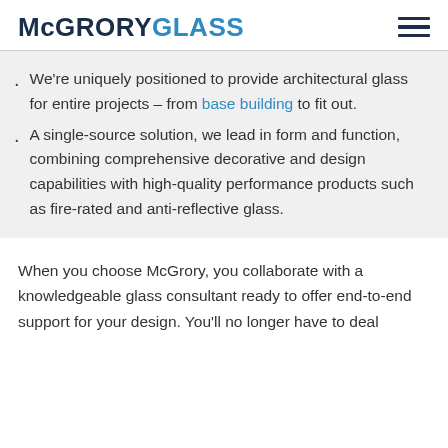McGRORYGLASS
We're uniquely positioned to provide architectural glass for entire projects – from base building to fit out.
A single-source solution, we lead in form and function, combining comprehensive decorative and design capabilities with high-quality performance products such as fire-rated and anti-reflective glass.
When you choose McGrory, you collaborate with a knowledgeable glass consultant ready to offer end-to-end support for your design. You'll no longer have to deal